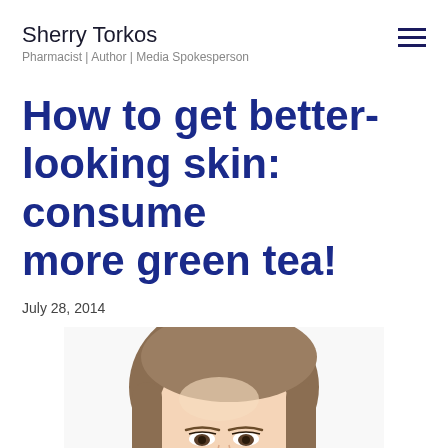Sherry Torkos
Pharmacist | Author | Media Spokesperson
How to get better-looking skin: consume more green tea!
July 28, 2014
[Figure (photo): Close-up portrait of a young woman with straight brown hair, smiling slightly, white background, cropped to show face and top of head]